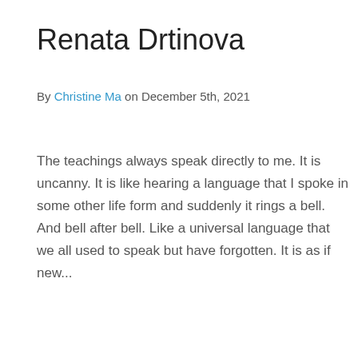Renata Drtinova
By Christine Ma on December 5th, 2021
The teachings always speak directly to me. It is uncanny. It is like hearing a language that I spoke in some other life form and suddenly it rings a bell. And bell after bell. Like a universal language that we all used to speak but have forgotten. It is as if new...